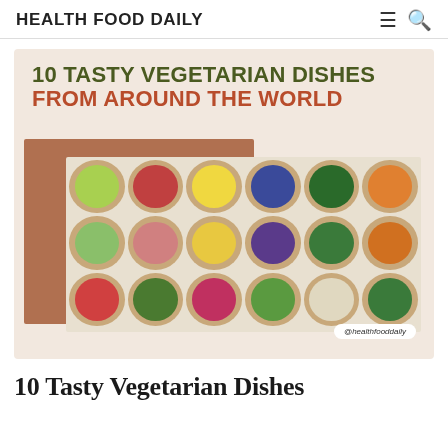HEALTH FOOD DAILY
[Figure (illustration): Promotional image with text '10 TASTY VEGETARIAN DISHES FROM AROUND THE WORLD' on a beige background, with bowls of colorful vegetables and fruits arranged in a grid, and a handle tag '@healthfooddaily'.]
10 Tasty Vegetarian Dishes